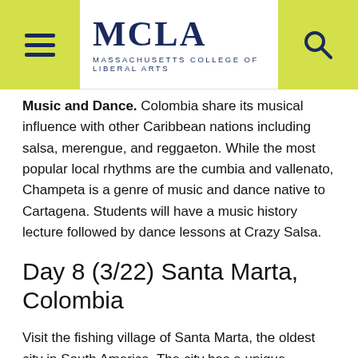MCLA — MASSACHUSETTS COLLEGE OF LIBERAL ARTS
Music and Dance. Colombia share its musical influence with other Caribbean nations including salsa, merengue, and reggaeton. While the most popular local rhythms are the cumbia and vallenato, Champeta is a genre of music and dance native to Cartagena. Students will have a music history lecture followed by dance lessons at Crazy Salsa.
Day 8 (3/22) Santa Marta, Colombia
Visit the fishing village of Santa Marta, the oldest city in South America. The city has a unique architectural colonial heritage, and great cultural legacy, We will stay at a hostel in the historic center, an ideal location to explore the city. In Santa Marta we will tour the Quinta de San Pedro Alejandrino, a hacienda-museum